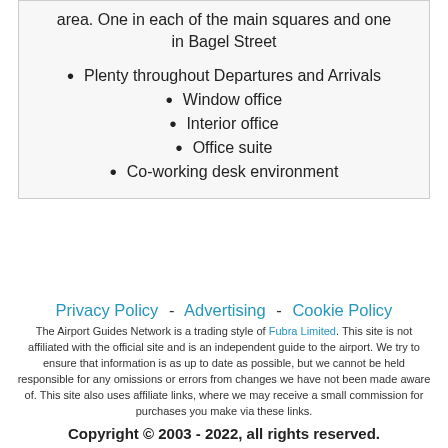area. One in each of the main squares and one in Bagel Street
Plenty throughout Departures and Arrivals
Window office
Interior office
Office suite
Co-working desk environment
Privacy Policy - Advertising - Cookie Policy
The Airport Guides Network is a trading style of Fubra Limited. This site is not affiliated with the official site and is an independent guide to the airport. We try to ensure that information is as up to date as possible, but we cannot be held responsible for any omissions or errors from changes we have not been made aware of. This site also uses affiliate links, where we may receive a small commission for purchases you make via these links.
Copyright © 2003 - 2022, all rights reserved.